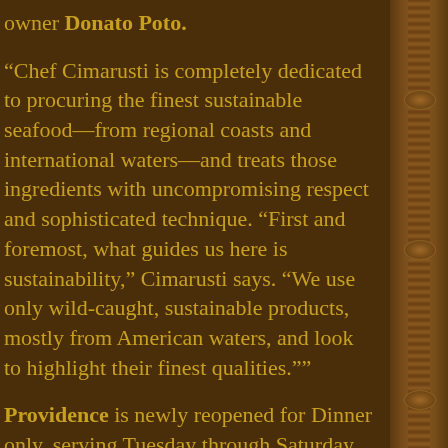owner Donato Poto.
“Chef Cimarusti is completely dedicated to procuring the finest sustainable seafood—from regional coasts and international waters—and treats those ingredients with uncompromising respect and sophisticated technique. “First and foremost, what guides us here is sustainability,” Cimarusti says. “We use only wild-caught, sustainable products, mostly from American waters, and look to highlight their finest qualities.””
Providence is newly reopened for Dinner only, serving Tuesday through Saturday. Providence offers a single, extravagant multi-course tasting menu nightly. (Vegetarian and Pescatarian